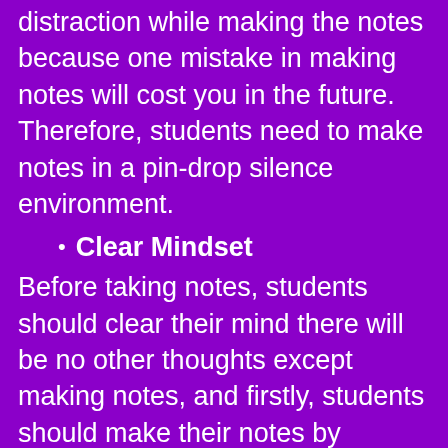distraction while making the notes because one mistake in making notes will cost you in the future. Therefore, students need to make notes in a pin-drop silence environment.
Clear Mindset
Before taking notes, students should clear their mind there will be no other thoughts except making notes, and firstly, students should make their notes by individual subjects. They need not mix all subjects at a time. This will create a mess in your mind.
[Figure (photo): Close-up photo of a pen resting on a notebook, partially visible at the bottom of the page]